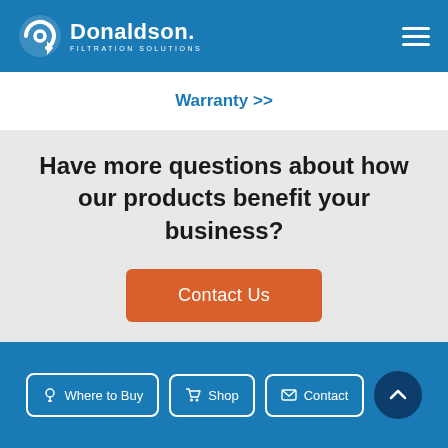[Figure (logo): Donaldson Filtration Solutions logo with circular icon on blue header background]
Warranty >>
Have more questions about how our products benefit your business?
Contact Us
Where to Buy  Shop  Contact